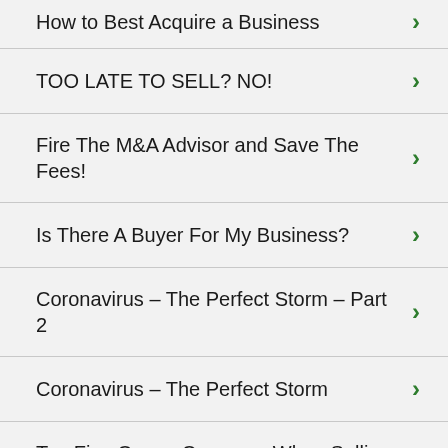How to Best Acquire a Business
TOO LATE TO SELL? NO!
Fire The M&A Advisor and Save The Fees!
Is There A Buyer For My Business?
Coronavirus – The Perfect Storm – Part 2
Coronavirus – The Perfect Storm
Top Five Owner Concerns When Selling A Business